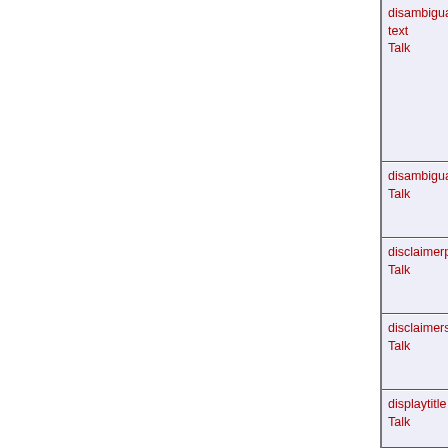disambiguations-text
Talk
disambiguationspage
Talk
disclaimerpage
Talk
disclaimers
Talk
displaytitle
Talk
djvu_no_xml
Talk
djvu_page_error
Talk
doubleredirects
Talk
doubleredirects-summary
Talk
doubleredirectstext